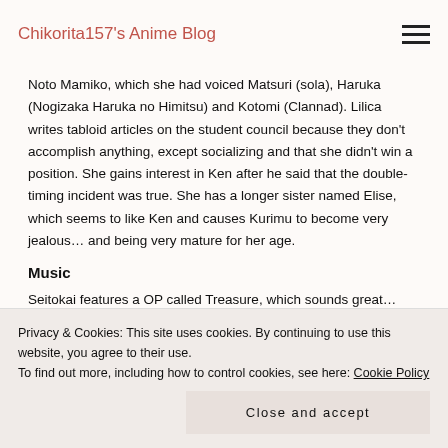Chikorita157's Anime Blog
Noto Mamiko, which she had voiced Matsuri (sola), Haruka (Nogizaka Haruka no Himitsu) and Kotomi (Clannad). Lilica writes tabloid articles on the student council because they don't accomplish anything, except socializing and that she didn't win a position. She gains interest in Ken after he said that the double-timing incident was true. She has a longer sister named Elise, which seems to like Ken and causes Kurimu to become very jealous… and being very mature for her age.
Music
Seitokai features a OP called Treasure, which sounds great… For the ED, there are several versions. One song called Mousou
Privacy & Cookies: This site uses cookies. By continuing to use this website, you agree to their use.
To find out more, including how to control cookies, see here: Cookie Policy
Close and accept
remix with different lyrics. There are also songs with completely